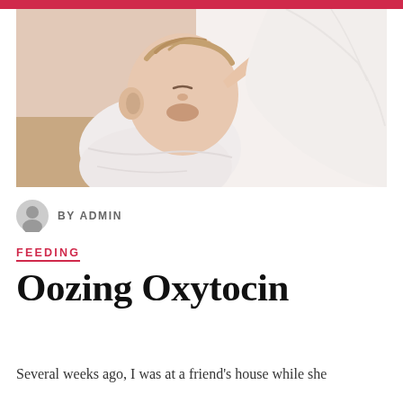[Figure (photo): A sleeping baby in a white onesie breastfeeding, held by a person in white clothing. Close-up, soft lighting.]
BY ADMIN
FEEDING
Oozing Oxytocin
Several weeks ago, I was at a friend's house while she